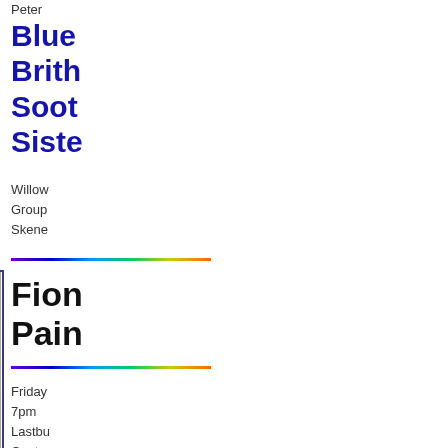Peter...
Blue...
Brith...
Sooth...
Siste...
Willow...
Group...
Skene...
Fion...
Pain...
[Figure (photo): A figure draped in white robes bowing forward with dark hair hanging down, against a grey background. Painting style artwork.]
Friday...
7pm
Lastbu...
Cante...
Pitslige...
Pear...
Trac...
John M...
Hawor...
and fri...
poetry...